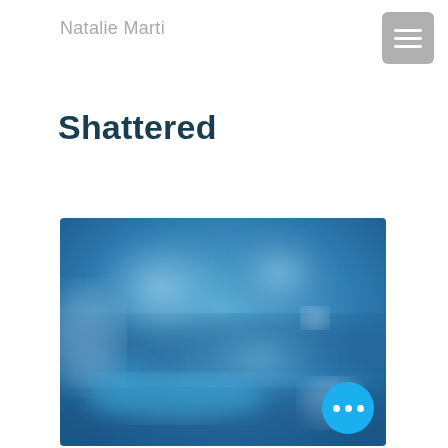Natalie Marti
Shattered
[Figure (photo): Blurry abstract blue image resembling shattered glass or water reflections with blurred teal and blue hues. A bright blue circular button with three white dots (ellipsis/menu icon) is overlaid in the bottom-right corner of the image.]